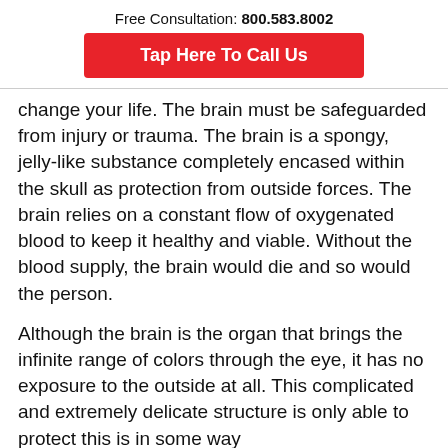Free Consultation: 800.583.8002
Tap Here To Call Us
change your life. The brain must be safeguarded from injury or trauma. The brain is a spongy, jelly-like substance completely encased within the skull as protection from outside forces. The brain relies on a constant flow of oxygenated blood to keep it healthy and viable. Without the blood supply, the brain would die and so would the person.
Although the brain is the organ that brings the infinite range of colors through the eye, it has no exposure to the outside at all. This complicated and extremely delicate structure is only able to protect this is in some way...